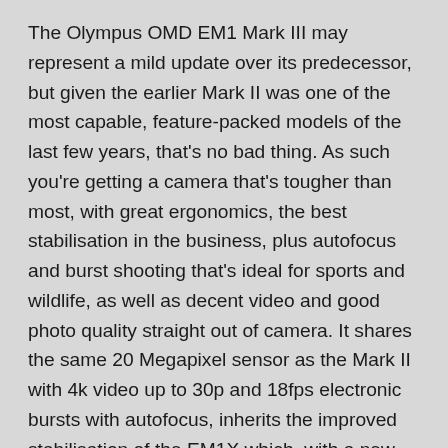The Olympus OMD EM1 Mark III may represent a mild update over its predecessor, but given the earlier Mark II was one of the most capable, feature-packed models of the last few years, that's no bad thing. As such you're getting a camera that's tougher than most, with great ergonomics, the best stabilisation in the business, plus autofocus and burst shooting that's ideal for sports and wildlife, as well as decent video and good photo quality straight out of camera. It shares the same 20 Megapixel sensor as the Mark II with 4k video up to 30p and 18fps electronic bursts with autofocus, inherits the improved stabilisation of the EM1X which, with a new processor, also supports the Live ND and 50 Megapixel handheld high res that debuted on the flagship. Over the Mark II you're also getting a long-overdue AF joystick, USB power delivery and charging, Bluetooth for easier wireless, better face and eye detection, as well as 1080 at 120p, auto ISO in manual movies and OM Log for grading. The viewfinder remains the same as the Mark II